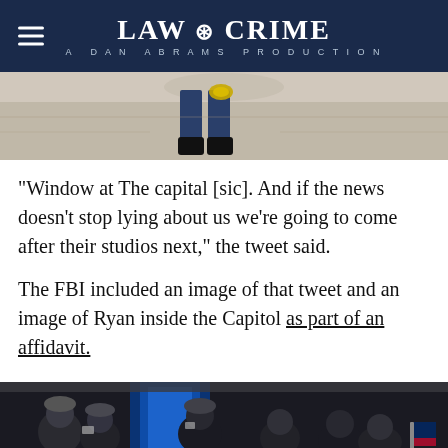LAW & CRIME — A DAN ABRAMS PRODUCTION
[Figure (photo): Partial photo of person near Capitol building ornate stone wall, lower legs visible]
“Window at The capital [sic]. And if the news doesn’t stop lying about us we’re going to come after their studios next,” the tweet said.
The FBI included an image of that tweet and an image of Ryan inside the Capitol as part of an affidavit.
[Figure (photo): Photo of crowd of people inside the Capitol building, some with hats, photographing something, blue lighting visible]